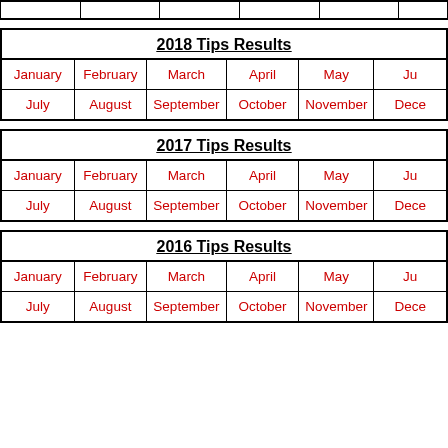|  |  |  |  |  |  |
| 2018 Tips Results |
| --- |
| January | February | March | April | May | Ju... |
| July | August | September | October | November | Dece... |
| 2017 Tips Results |
| --- |
| January | February | March | April | May | Ju... |
| July | August | September | October | November | Dece... |
| 2016 Tips Results |
| --- |
| January | February | March | April | May | Ju... |
| July | August | September | October | November | Dece... |